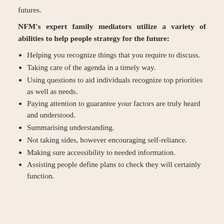futures.
NFM's expert family mediators utilize a variety of abilities to help people strategy for the future:
Helping you recognize things that you require to discuss.
Taking care of the agenda in a timely way.
Using questions to aid individuals recognize top priorities as well as needs.
Paying attention to guarantee your factors are truly heard and understood.
Summarising understanding.
Not taking sides, however encouraging self-reliance.
Making sure accessibility to needed information.
Assisting people define plans to check they will certainly function.